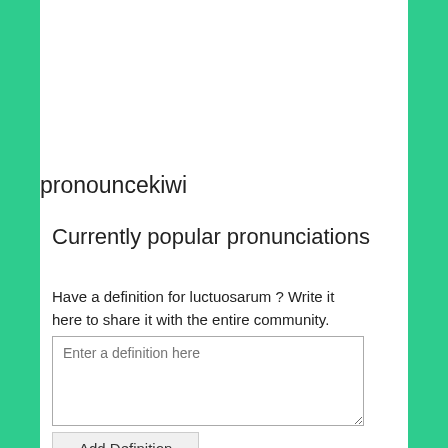pronouncekiwi
Currently popular pronunciations
Have a definition for luctuosarum ? Write it here to share it with the entire community.
[Figure (screenshot): Text input area with placeholder text 'Enter a definition here']
Add Definition